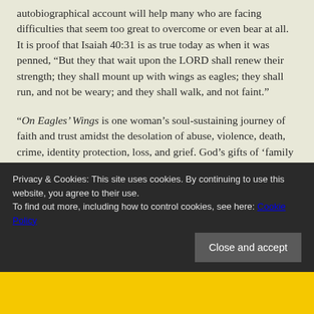autobiographical account will help many who are facing difficulties that seem too great to overcome or even bear at all. It is proof that Isaiah 40:31 is as true today as when it was penned, “But they that wait upon the LORD shall renew their strength; they shall mount up with wings as eagles; they shall run, and not be weary; and they shall walk, and not faint.”

“On Eagles’ Wings is one woman’s soul-sustaining journey of faith and trust amidst the desolation of abuse, violence, death, crime, identity protection, loss, and grief. God’s gifts of ‘family of origin,’ and ‘family of completion’ are the bookends of Sara Eggleston’s life journey. She is an
Privacy & Cookies: This site uses cookies. By continuing to use this website, you agree to their use.
To find out more, including how to control cookies, see here: Cookie Policy
Close and accept